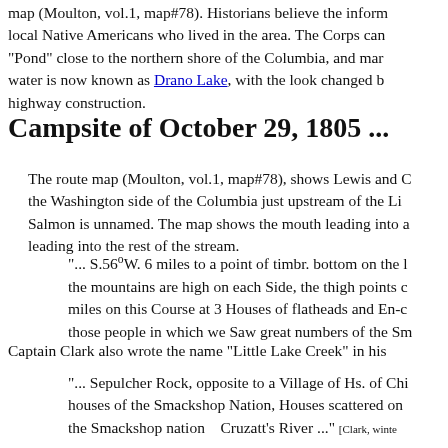map (Moulton, vol.1, map#78). Historians believe the inform local Native Americans who lived in the area. The Corps can "Pond" close to the northern shore of the Columbia, and mar water is now known as Drano Lake, with the look changed b highway construction.
Campsite of October 29, 1805 ...
The route map (Moulton, vol.1, map#78), shows Lewis and C the Washington side of the Columbia just upstream of the Li Salmon is unnamed. The map shows the mouth leading into a leading into the rest of the stream.
"... S.56°W. 6 miles to a point of timbr. bottom on the l the mountains are high on each Side, the thigh points c miles on this Course at 3 Houses of flatheads and En-c those people in which we Saw great numbers of the Sm
Captain Clark also wrote the name "Little Lake Creek" in his
"... Sepulcher Rock, opposite to a Village of Hs. of Chi houses of the Smackshop Nation, Houses scattered on the Smackshop nation    Cruzatt's River ..." [Clark, winte